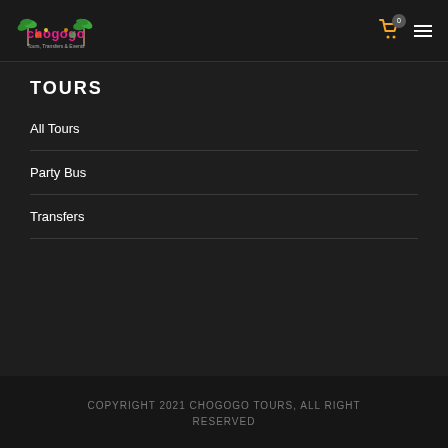[Figure (logo): Chogogo Tours, Transfers & Events colorful logo with palm trees]
TOURS
All Tours
Party Bus
Transfers
COPYRIGHT 2021 CHOGOGO TOURS, ALL RIGHT RESERVED